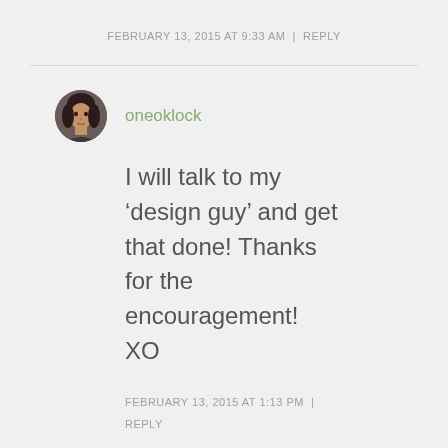FEBRUARY 13, 2015 AT 9:33 AM  |  REPLY
[Figure (photo): Circular avatar photo of a woman with dark hair]
oneoklock
I will talk to my ‘design guy’ and get that done! Thanks for the encouragement! XO
FEBRUARY 13, 2015 AT 1:13 PM | REPLY